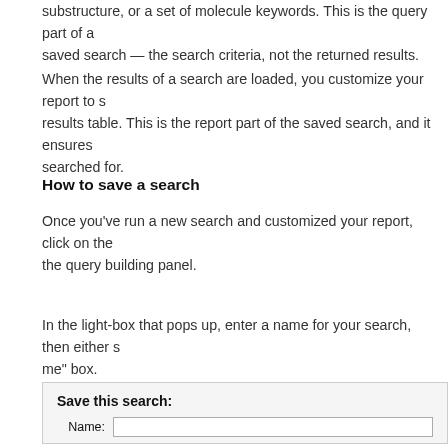substructure, or a set of molecule keywords. This is the query part of a saved search — the search criteria, not the returned results.
When the results of a search are loaded, you customize your report to show the right results table. This is the report part of the saved search, and it ensures you always get what you searched for.
How to save a search
Once you've run a new search and customized your report, click on the Save Search button in the query building panel.
In the light-box that pops up, enter a name for your search, then either save it or check the "remind me" box.
[Figure (screenshot): A UI dialog box titled 'Save this search:' with a Name input field below it.]